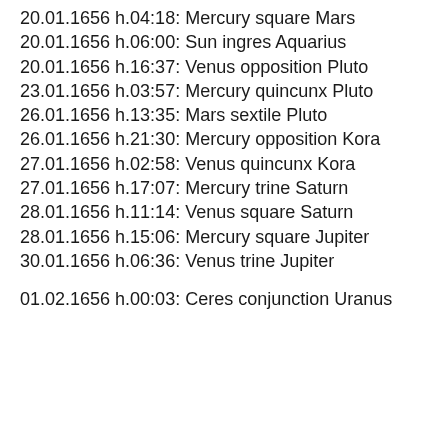20.01.1656 h.04:18: Mercury square Mars
20.01.1656 h.06:00: Sun ingres Aquarius
20.01.1656 h.16:37: Venus opposition Pluto
23.01.1656 h.03:57: Mercury quincunx Pluto
26.01.1656 h.13:35: Mars sextile Pluto
26.01.1656 h.21:30: Mercury opposition Kora
27.01.1656 h.02:58: Venus quincunx Kora
27.01.1656 h.17:07: Mercury trine Saturn
28.01.1656 h.11:14: Venus square Saturn
28.01.1656 h.15:06: Mercury square Jupiter
30.01.1656 h.06:36: Venus trine Jupiter
01.02.1656 h.00:03: Ceres conjunction Uranus